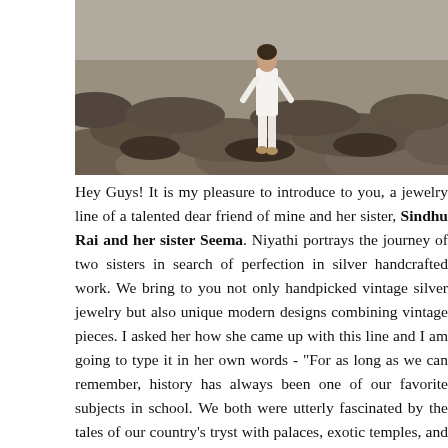[Figure (photo): A woman in white clothing walking on rocky terrain near the sea, viewed from a distance.]
Hey Guys! It is my pleasure to introduce to you, a jewelry line of a talented dear friend of mine and her sister, Sindhu Rai and her sister Seema. Niyathi portrays the journey of two sisters in search of perfection in silver handcrafted work. We bring to you not only handpicked vintage silver jewelry but also unique modern designs combining vintage pieces. I asked her how she came up with this line and I am going to type it in her own words - "For as long as we can remember, history has always been one of our favorite subjects in school. We both were utterly fascinated by the tales of our country's tryst with palaces, exotic temples, and enchanting monuments. Vivid images would capture our senses as our teachers waxed eloquent about India's rich heritage and timeless mythological tales. The fact that we grew up in a south Indian home...